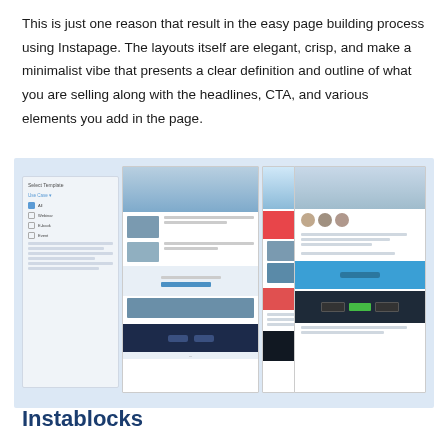This is just one reason that result in the easy page building process using Instapage. The layouts itself are elegant, crisp, and make a minimalist vibe that presents a clear definition and outline of what you are selling along with the headlines, CTA, and various elements you add in the page.
[Figure (screenshot): Screenshot of Instapage template selection interface showing sidebar with template categories (Use Case, All, Webinar, E-book, Event) and three template preview panels with various layout designs including images, red sections, blue sections, and dark footer sections.]
Instablocks